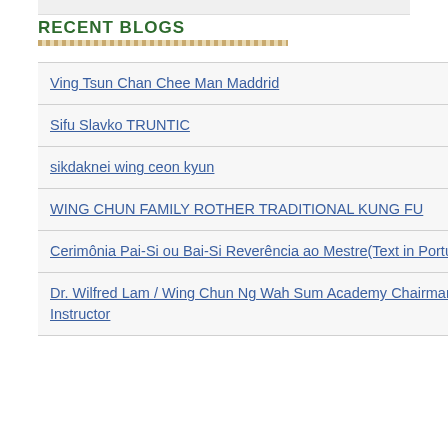RECENT BLOGS
Ving Tsun Chan Chee Man Maddrid
Sifu Slavko TRUNTIC
sikdaknei wing ceon kyun
WING CHUN FAMILY ROTHER TRADITIONAL KUNG FU
Cerimônia Pai-Si ou Bai-Si Reverência ao Mestre(Text in Portuguese)
Dr. Wilfred Lam / Wing Chun Ng Wah Sum Academy Chairman✉ Chief Instructor